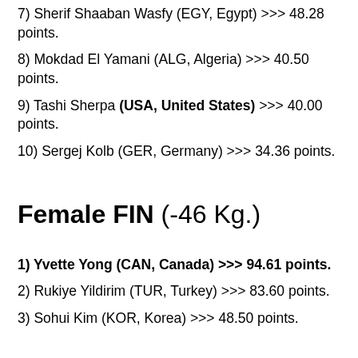7) Sherif Shaaban Wasfy (EGY, Egypt) >>> 48.28 points.
8) Mokdad El Yamani (ALG, Algeria) >>> 40.50 points.
9) Tashi Sherpa (USA, United States) >>> 40.00 points.
10) Sergej Kolb (GER, Germany) >>> 34.36 points.
Female FIN (-46 Kg.)
1) Yvette Yong (CAN, Canada) >>> 94.61 points.
2) Rukiye Yildirim (TUR, Turkey) >>> 83.60 points.
3) Sohui Kim (KOR, Korea) >>> 48.50 points.